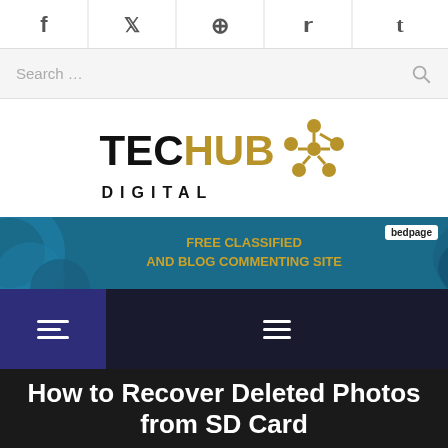[Figure (screenshot): Social media share icons bar with Facebook, Twitter, Pinterest, Reddit, Tumblr icons]
Search …
[Figure (logo): TechHub Digital logo with golden hub/network icon]
[Figure (infographic): Bedpage advertisement banner: FREE CLASSIFIED AND BLOG COMMENTING SITE]
[Figure (screenshot): Navigation bar with hamburger menu icons, dark blue/black background]
How to Recover Deleted Photos from SD Card